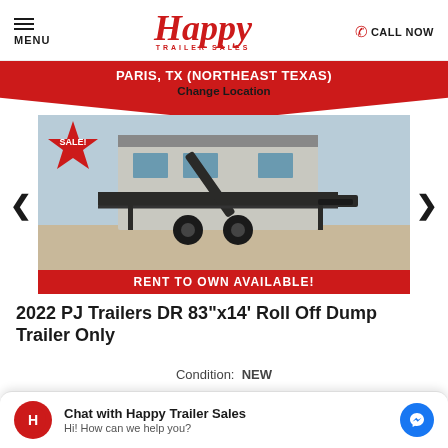MENU | Happy Trailer Sales | CALL NOW
PARIS, TX (NORTHEAST TEXAS)
Change Location
[Figure (photo): 2022 PJ Trailers DR 83"x14' Roll Off Dump Trailer Only, shown parked in front of a dealership building with a SALE badge and RENT TO OWN AVAILABLE banner.]
2022 PJ Trailers DR 83"x14' Roll Off Dump Trailer Only
Chat with Happy Trailer Sales
Hi! How can we help you?
Condition:  NEW